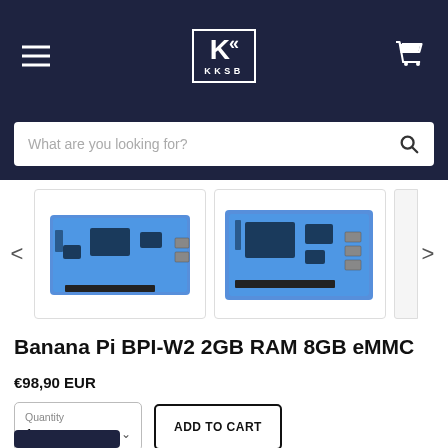KKSB store header with hamburger menu, KKSB logo, and cart icon
What are you looking for?
[Figure (photo): Two single-board computer product images (Banana Pi BPI-W2 boards) shown in a carousel with left and right navigation arrows]
Banana Pi BPI-W2 2GB RAM 8GB eMMC
€98,90 EUR
Quantity 1  ADD TO CART